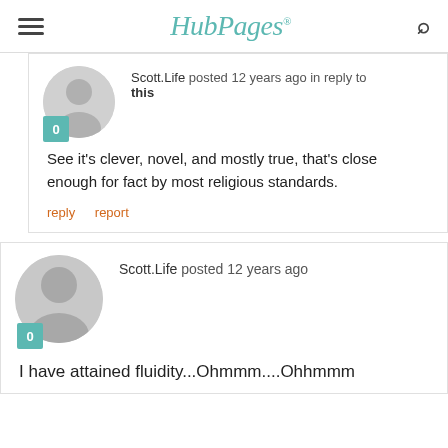HubPages
Scott.Life posted 12 years ago in reply to this
See it's clever, novel, and mostly true, that's close enough for fact by most religious standards.
reply   report
Scott.Life posted 12 years ago
I have attained fluidity...Ohmmm....Ohhmmm